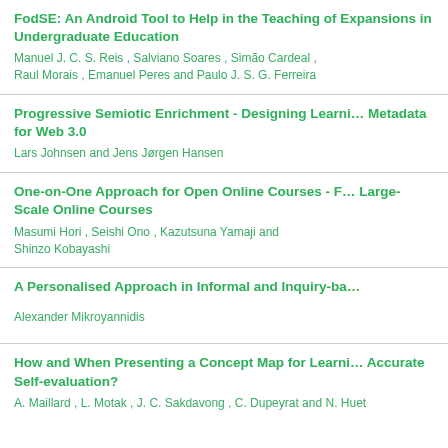FodSE: An Android Tool to Help in the Teaching of Expansions in Undergraduate Education
Manuel J. C. S. Reis , Salviano Soares , Simão Cardeal , Raul Morais , Emanuel Peres and Paulo J. S. G. Ferreira
Progressive Semiotic Enrichment - Designing Learning Metadata for Web 3.0
Lars Johnsen and Jens Jørgen Hansen
One-on-One Approach for Open Online Courses - For Large-Scale Online Courses
Masumi Hori , Seishi Ono , Kazutsuna Yamaji and Shinzo Kobayashi
A Personalised Approach in Informal and Inquiry-ba...
Alexander Mikroyannidis
How and When Presenting a Concept Map for Learners' Accurate Self-evaluation?
A. Maillard , L. Motak , J. C. Sakdavong , C. Dupeyrat and N. Huet